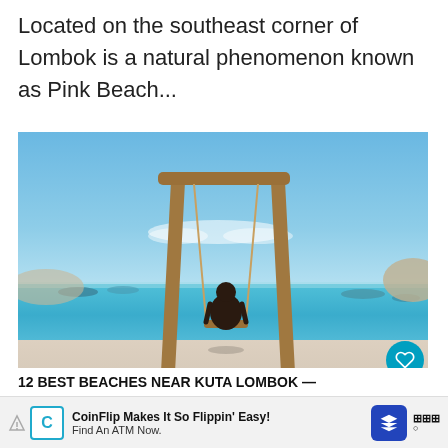Located on the southeast corner of Lombok is a natural phenomenon known as Pink Beach...
[Figure (photo): A woman sitting on a wooden swing on a pink-tinted sandy beach with turquoise sea and blue sky in the background, with boats visible on the water. Two tall wooden posts form the swing frame. Lombok, Indonesia.]
12 BEST BEACHES NEAR KUTA LOMBOK —
CoinFlip Makes It So Flippin' Easy! Find An ATM Now. [Advertisement banner]